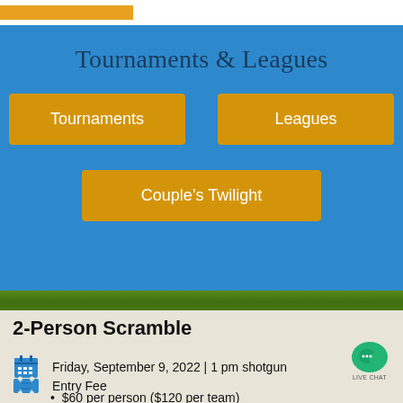Tournaments & Leagues
Tournaments
Leagues
Couple’s Twilight
2-Person Scramble
Friday, September 9, 2022 | 1 pm shotgun
Entry Fee
$60 per person ($120 per team)